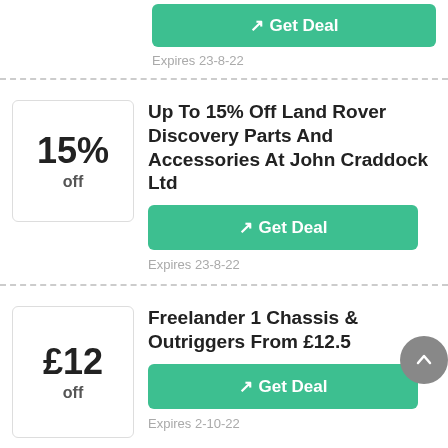[Figure (other): Green Get Deal button (top, partially visible)]
Expires 23-8-22
Up To 15% Off Land Rover Discovery Parts And Accessories At John Craddock Ltd
[Figure (other): Green Get Deal button for 15% off deal]
Expires 23-8-22
Freelander 1 Chassis & Outriggers From £12.5
[Figure (other): Green Get Deal button for £12 off deal]
Expires 2-10-22